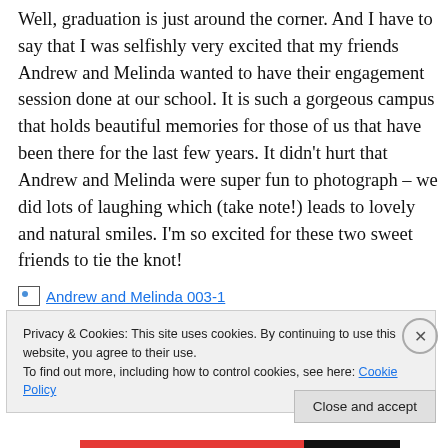Well, graduation is just around the corner. And I have to say that I was selfishly very excited that my friends Andrew and Melinda wanted to have their engagement session done at our school. It is such a gorgeous campus that holds beautiful memories for those of us that have been there for the last few years. It didn't hurt that Andrew and Melinda were super fun to photograph – we did lots of laughing which (take note!) leads to lovely and natural smiles. I'm so excited for these two sweet friends to tie the knot!
[Figure (photo): Broken image placeholder labeled 'Andrew and Melinda 003-1']
Privacy & Cookies: This site uses cookies. By continuing to use this website, you agree to their use.
To find out more, including how to control cookies, see here: Cookie Policy
Close and accept